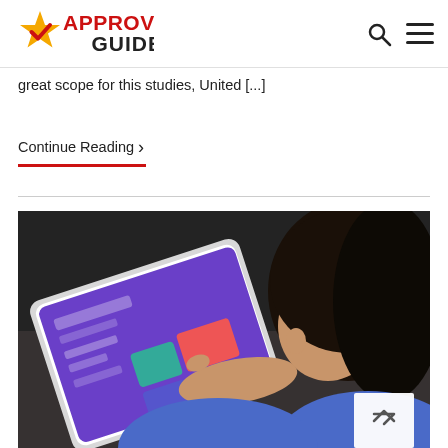Approved Guide
great scope for this studies, United [...]
Continue Reading
[Figure (photo): A young person using a tablet device with a purple/colorful educational app interface, photographed from behind over their shoulder]